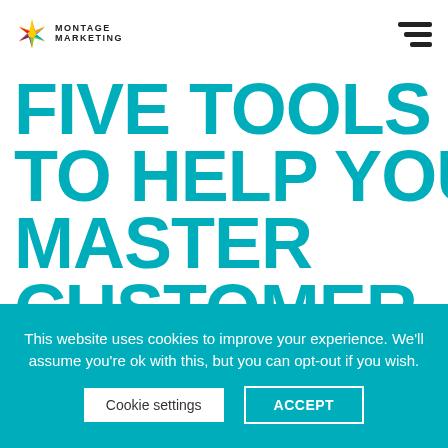MONTAGE MARKETING
FIVE TOOLS TO HELP YOU MASTER CUSTOMER ENGAGEMENT
This website uses cookies to improve your experience. We'll assume you're ok with this, but you can opt-out if you wish.
Cookie settings  ACCEPT